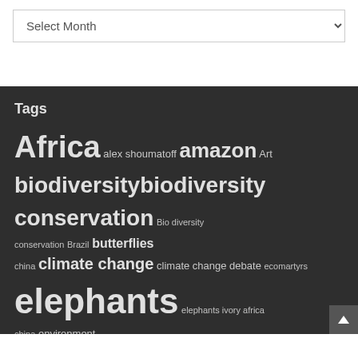Select Month (dropdown)
Tags
Africa alex shoumatoff amazon Art biodiversity biodiversity conservation Bio diversity conservation Brazil butterflies china climate change climate change debate ecomartyrs elephants elephants ivory africa china environment Environmental advocacy extinction FICTION global warming global warming skeptics hwange park investigative golf ivory ivory poaching ivory trade journalism MEMOIRS michoacan music natural history obama oil